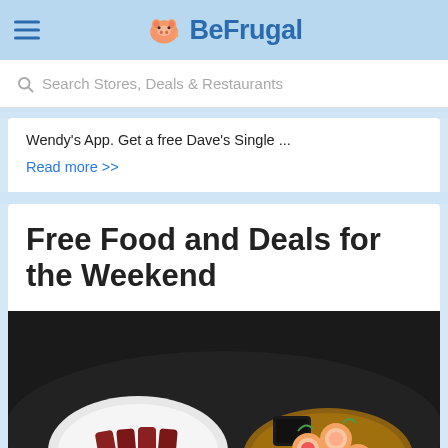BeFrugal
Search Stores, Deals & Restaurants
Wendy's App. Get a free Dave's Single ...
Read more >>
Free Food and Deals for the Weekend
[Figure (photo): Close-up photo of various food dishes on a dark table: a white plate with tuna/fish slices and green sauce on the left, and a wooden board with decorative sushi rolls topped with salmon, radish, cucumber, and garnishes on the right.]